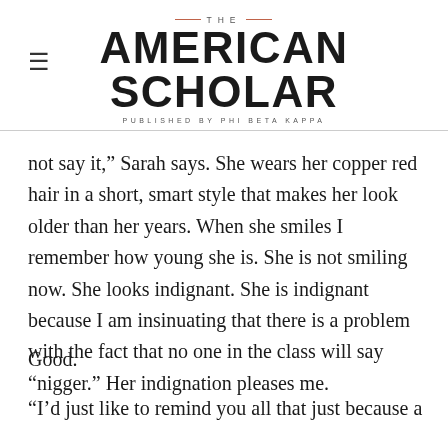THE AMERICAN SCHOLAR — PUBLISHED BY PHI BETA KAPPA
not say it,” Sarah says. She wears her copper red hair in a short, smart style that makes her look older than her years. When she smiles I remember how young she is. She is not smiling now. She looks indignant. She is indignant because I am insinuating that there is a problem with the fact that no one in the class will say “nigger.” Her indignation pleases me.
Good.
“I’d just like to remind you all that just because a